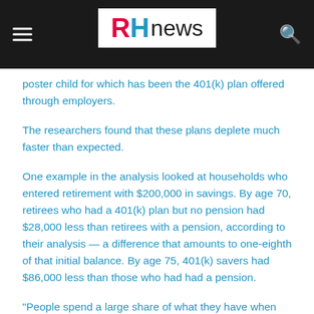RH news
poster child for which has been the 401(k) plan offered through employers.
The researchers found that these plans deplete much faster than expected.
One example in the analysis looked at households who entered retirement with $200,000 in savings. By age 70, retirees who had a 401(k) plan but no pension had $28,000 less than retirees with a pension, according to their analysis — a difference that amounts to one-eighth of that initial balance. By age 75, 401(k) savers had $86,000 less than those who had had a pension.
"People spend a large share of what they have when they